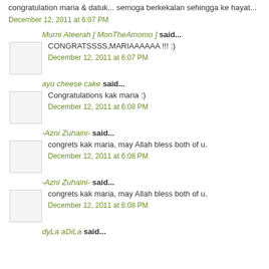congratulation maria & datuk... semoga berkekalan sehingga ke hayat...
December 12, 2011 at 6:07 PM
Murni Ateerah [ MonTheAmomo ] said...
CONGRATSSSS,MARIAAAAAA !!! :)
December 12, 2011 at 6:07 PM
ayu cheese cake said...
Congratulations kak maria :)
December 12, 2011 at 6:08 PM
-Azni Zuhaini- said...
congrets kak maria, may Allah bless both of u.
December 12, 2011 at 6:08 PM
-Azni Zuhaini- said...
congrets kak maria, may Allah bless both of u.
December 12, 2011 at 6:08 PM
dyLa aDiLa said...